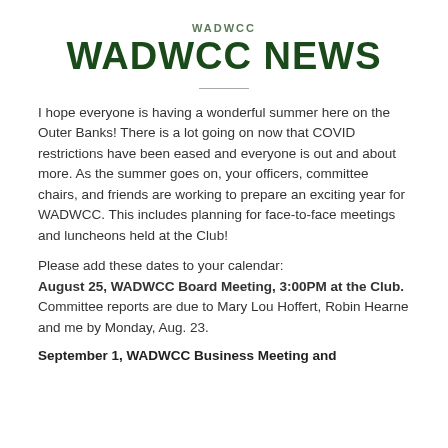WADWCC
WADWCC NEWS
I hope everyone is having a wonderful summer here on the Outer Banks!  There is a lot going on now that COVID restrictions have been eased and everyone is out and about more. As the summer goes on, your officers, committee chairs, and friends are working to prepare an exciting year for WADWCC. This includes planning for face-to-face meetings and luncheons held at the Club!
Please add these dates to your calendar:
August 25, WADWCC Board Meeting, 3:00PM at the Club.
Committee reports are due to Mary Lou Hoffert, Robin Hearne and me by Monday, Aug. 23.
September 1, WADWCC Business Meeting and